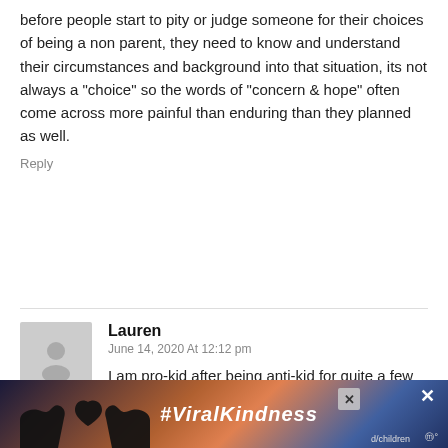before people start to pity or judge someone for their choices of being a non parent, they need to know and understand their circumstances and background into that situation, its not always a "choice" so the words of “concern & hope” often come across more painful than enduring than they planned as well.
Reply
Lauren
June 14, 2020 At 12:12 pm
I am pro-kid after being anti-kid for quite a few years. The reason I was anti-kid (and I told this to everyone who asked) was because I was not prepared or willing to handle the responsibility of raising them. Only in the past 2 years have I
[Figure (photo): Advertisement banner showing hands making a heart shape silhouette against a colorful sunset sky background, with text #ViralKindness and close buttons]